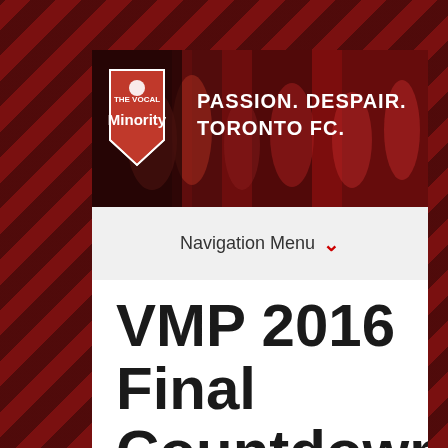[Figure (photo): The Vocal Minority blog header banner showing logo with text 'PASSION. DESPAIR. TORONTO FC.' over a crowd/players collage background]
Navigation Menu ∨
VMP 2016 Final Countdown #12: Nick